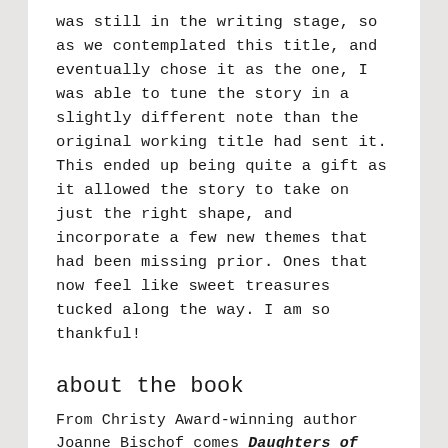was still in the writing stage, so as we contemplated this title, and eventually chose it as the one, I was able to tune the story in a slightly different note than the original working title had sent it. This ended up being quite a gift as it allowed the story to take on just the right shape, and incorporate a few new themes that had been missing prior. Ones that now feel like sweet treasures tucked along the way. I am so thankful!
about the book
From Christy Award-winning author Joanne Bischof comes Daughters of Northern Shores the highly anticipated sequel to her moving novel Sons of Blackbird Mountain.
"The Norgaard brothers and their families will stand